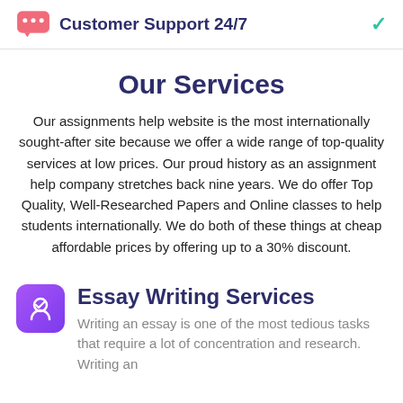Customer Support 24/7
Our Services
Our assignments help website is the most internationally sought-after site because we offer a wide range of top-quality services at low prices. Our proud history as an assignment help company stretches back nine years. We do offer Top Quality, Well-Researched Papers and Online classes to help students internationally. We do both of these things at cheap affordable prices by offering up to a 30% discount.
Essay Writing Services
Writing an essay is one of the most tedious tasks that require a lot of concentration and research. Writing an